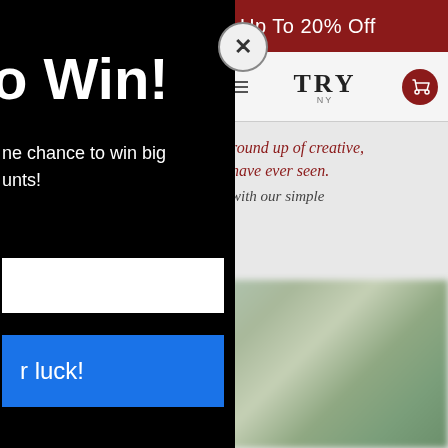[Figure (screenshot): Screenshot of a website with a modal popup. Left side shows a dark/black modal popup with text 'o Win!', 'ne chance to win big', 'unts!', a white input field, and a blue button with 'r luck!'. Right side shows a website with a dark red banner saying 'Up To 20% Off', a navigation bar with 'TRY' logo and cart icon, italic dark red text 'round up of creative, have ever seen.' and 'with our simple', and a blurred product image below.]